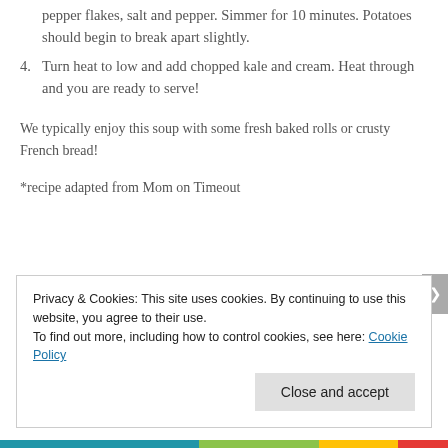pepper flakes, salt and pepper. Simmer for 10 minutes. Potatoes should begin to break apart slightly.
4. Turn heat to low and add chopped kale and cream. Heat through and you are ready to serve!
We typically enjoy this soup with some fresh baked rolls or crusty French bread!
*recipe adapted from Mom on Timeout
Privacy & Cookies: This site uses cookies. By continuing to use this website, you agree to their use.
To find out more, including how to control cookies, see here: Cookie Policy
Close and accept